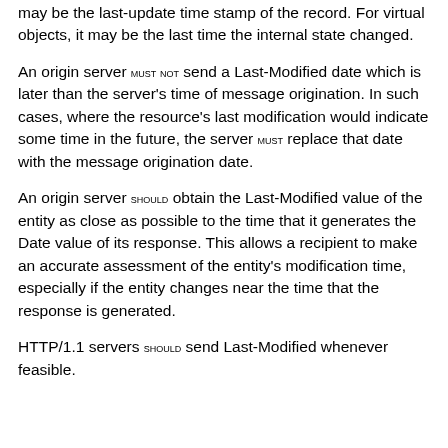may be the last-update time stamp of the record. For virtual objects, it may be the last time the internal state changed.
An origin server MUST NOT send a Last-Modified date which is later than the server's time of message origination. In such cases, where the resource's last modification would indicate some time in the future, the server MUST replace that date with the message origination date.
An origin server SHOULD obtain the Last-Modified value of the entity as close as possible to the time that it generates the Date value of its response. This allows a recipient to make an accurate assessment of the entity's modification time, especially if the entity changes near the time that the response is generated.
HTTP/1.1 servers SHOULD send Last-Modified whenever feasible.